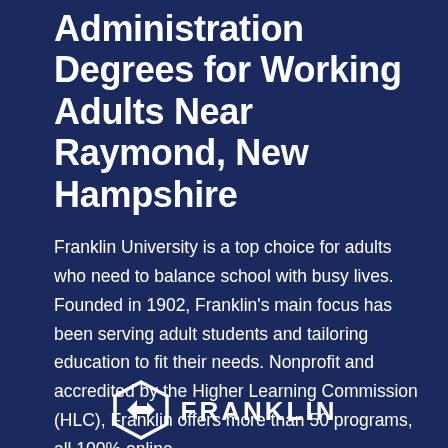Administration Degrees for Working Adults Near Raymond, New Hampshire
Franklin University is a top choice for adults who need to balance school with busy lives. Founded in 1902, Franklin's main focus has been serving adult students and tailoring education to fit their needs. Nonprofit and accredited by the Higher Learning Commission (HLC), Franklin offers more than 50 programs, all 100% online.
[Figure (logo): Franklin University logo with hexagonal icon and FRANKLIN text in white on dark blue background]